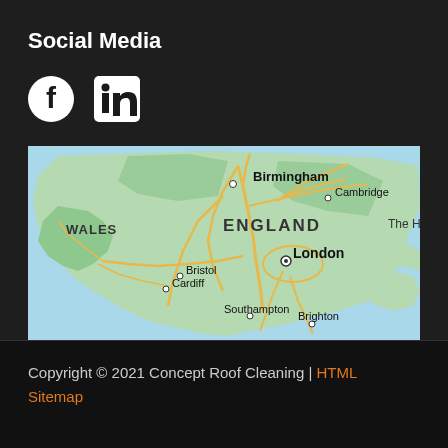Social Media
[Figure (logo): Facebook and LinkedIn social media icons]
[Figure (map): Map of England showing Birmingham, Cambridge, London, Bristol, Cardiff, Southampton, Brighton, Wales labels and road network]
Copyright © 2021 Concept Roof Cleaning | HTML Sitemap